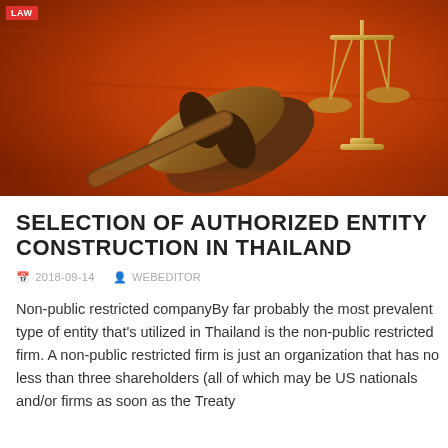[Figure (photo): Hero image of a judge's gavel and scales of justice on a warm orange/red wooden background, with a red 'Law' badge overlay in top-left corner]
SELECTION OF AUTHORIZED ENTITY CONSTRUCTION IN THAILAND
2018-09-14   WEBEDITOR
Non-public restricted companyBy far probably the most prevalent type of entity that's utilized in Thailand is the non-public restricted firm. A non-public restricted firm is just an organization that has no less than three shareholders (all of which may be US nationals and/or firms as soon as the Treaty